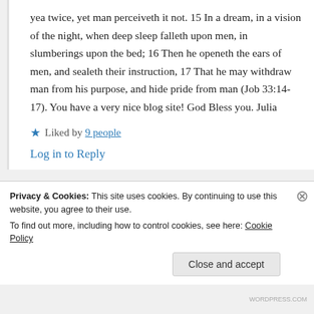yea twice, yet man perceiveth it not. 15 In a dream, in a vision of the night, when deep sleep falleth upon men, in slumberings upon the bed; 16 Then he openeth the ears of men, and sealeth their instruction, 17 That he may withdraw man from his purpose, and hide pride from man (Job 33:14-17). You have a very nice blog site! God Bless you. Julia
★ Liked by 9 people
Log in to Reply
Privacy & Cookies: This site uses cookies. By continuing to use this website, you agree to their use. To find out more, including how to control cookies, see here: Cookie Policy
Close and accept